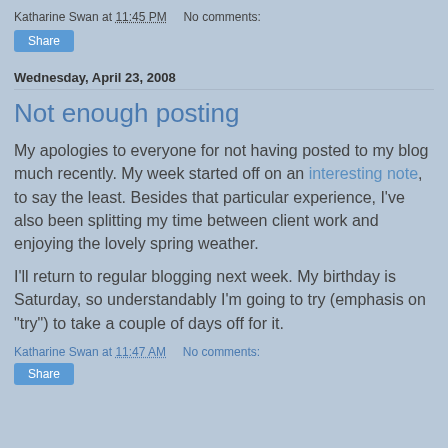Katharine Swan at 11:45 PM    No comments:
Share
Wednesday, April 23, 2008
Not enough posting
My apologies to everyone for not having posted to my blog much recently. My week started off on an interesting note, to say the least. Besides that particular experience, I've also been splitting my time between client work and enjoying the lovely spring weather.
I'll return to regular blogging next week. My birthday is Saturday, so understandably I'm going to try (emphasis on "try") to take a couple of days off for it.
Katharine Swan at 11:47 AM    No comments:
Share